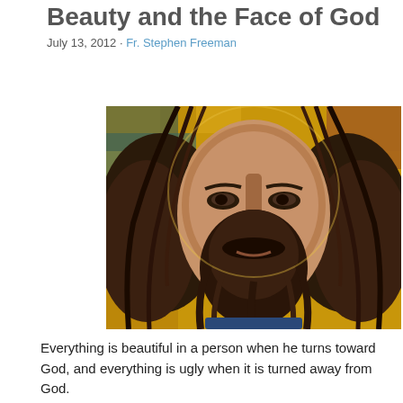Beauty and the Face of God
July 13, 2012 · Fr. Stephen Freeman
[Figure (photo): Byzantine mosaic of the face of Christ, featuring detailed tesserae work in gold and earth tones showing a bearded figure with long hair]
Everything is beautiful in a person when he turns toward God, and everything is ugly when it is turned away from God.